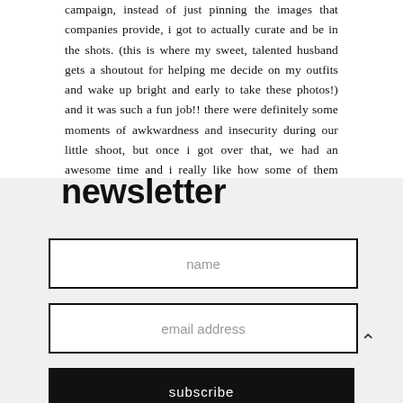campaign, instead of just pinning the images that companies provide, i got to actually curate and be in the shots. (this is where my sweet, talented husband gets a shoutout for helping me decide on my outfits and wake up bright and early to take these photos!) and it was such a fun job!! there were definitely some moments of awkwardness and insecurity during our little shoot, but once i got over that, we had an awesome time and i really like how some of them turned out! ha, so enjoy and be sure to check out the trend section at nordstrom for affordable and cute clothes!
newsletter
name
email address
subscribe